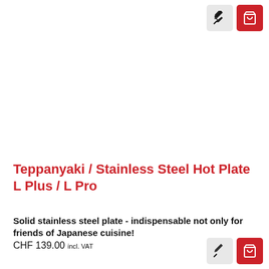[Figure (other): Top-right corner UI buttons: a grey pin/bookmark button and a red shopping cart button]
Teppanyaki / Stainless Steel Hot Plate L Plus / L Pro
Solid stainless steel plate - indispensable not only for friends of Japanese cuisine!
CHF 139.00 incl. VAT
[Figure (other): Bottom-right corner UI buttons: a grey pin/bookmark button and a red shopping cart button]